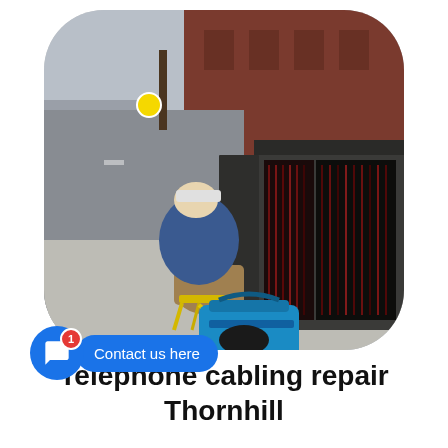[Figure (photo): A technician crouching on a city pavement, working on an open street-side telephone/broadband distribution cabinet filled with cables. A blue tool bag sits on the ground. Urban street scene in background.]
Telephone cabling repair Thornhill